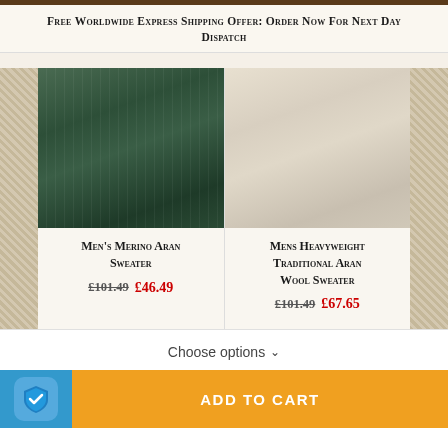Free Worldwide Express Shipping Offer: Order Now For Next Day Dispatch
[Figure (photo): Man wearing a dark green cable-knit Merino Aran sweater, standing against a stone wall]
Men's Merino Aran Sweater
£101.49  £46.49
[Figure (photo): Man from behind wearing a cream/off-white heavyweight traditional Aran wool sweater near the sea]
Mens Heavyweight Traditional Aran Wool Sweater
£101.49  £67.65
Choose options ∨
ADD TO CART